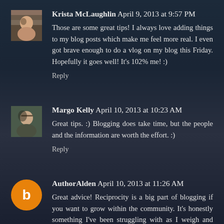Krista McLaughlin  April 9, 2013 at 9:57 PM
Those are some great tips! I always love adding things to my blog posts which make me feel more real. I even got brave enough to do a vlog on my blog this Friday. Hopefully it goes well! It's 102% me! :)
Reply
Margo Kelly  April 10, 2013 at 10:23 AM
Great tips. :) Blogging does take time, but the people and the information are worth the effort. :)
Reply
AuthorAlden  April 10, 2013 at 11:26 AM
Great advice! Reciprocity is a big part of blogging if you want to grow within the community. It's honestly something I've been struggling with as I weigh and balance the demands of my life with my continued efforts in the